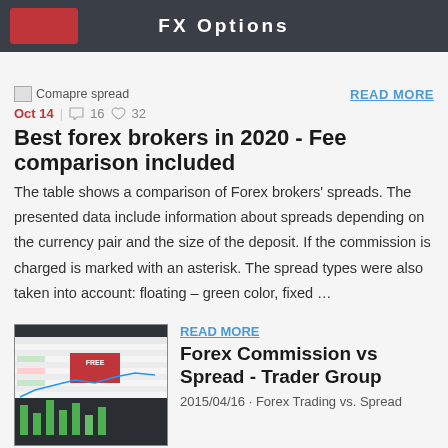FX Options
[Figure (screenshot): Compare spread image placeholder with broken image icon]
READ MORE
Oct 14 | 16 | 32
Best forex brokers in 2020 - Fee comparison included
The table shows a comparison of Forex brokers' spreads. The presented data include information about spreads depending on the currency pair and the size of the deposit. If the commission is charged is marked with an asterisk. The spread types were also taken into account: floating – green color, fixed …
[Figure (screenshot): Screenshot of FX compare broker table with chart and FREE banner]
READ MORE
Forex Commission vs Spread - Trader Group
2015/04/16 · Forex Trading vs. Spread